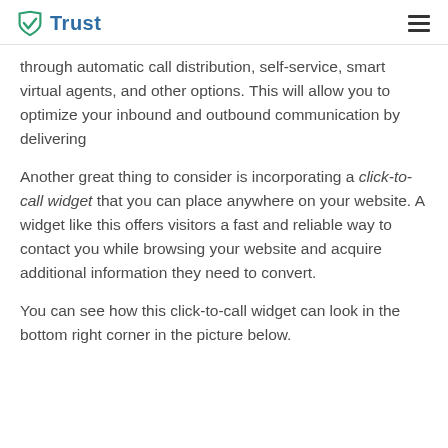Trust
through automatic call distribution, self-service, smart virtual agents, and other options. This will allow you to optimize your inbound and outbound communication by delivering
Another great thing to consider is incorporating a click-to-call widget that you can place anywhere on your website. A widget like this offers visitors a fast and reliable way to contact you while browsing your website and acquire additional information they need to convert.
You can see how this click-to-call widget can look in the bottom right corner in the picture below.